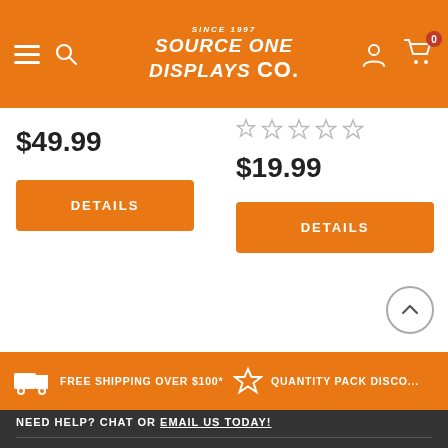Source One Displays Co — navigation header with hamburger menu, search, logo, user icon, cart (0)
$49.99
DETAILS
[Figure (other): 5-star rating row (empty/grey stars)]
$19.99
DETAILS
FREE SHIPPING OVER $100*
QUANTITY PACK DISCO...
NEED HELP? CHAT OR EMAIL US TODAY!
SUBSCRIBE TO OUR NEWSLETTER